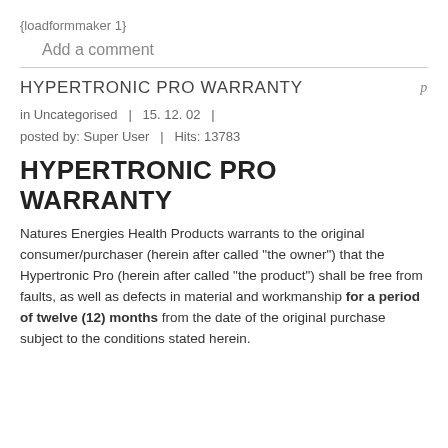{loadformmaker 1}
Add a comment
HYPERTRONIC PRO WARRANTY
in Uncategorised  |  15. 12. 02  |  posted by: Super User  |  Hits: 13783
HYPERTRONIC PRO WARRANTY
Natures Energies Health Products warrants to the original consumer/purchaser (herein after called "the owner") that the Hypertronic Pro (herein after called "the product") shall be free from faults, as well as defects in material and workmanship for a period of twelve (12) months from the date of the original purchase subject to the conditions stated herein.